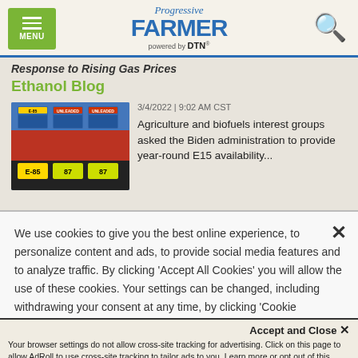Progressive Farmer powered by DTN
Response to Rising Gas Prices
Ethanol Blog
[Figure (photo): Photo of gas pump display showing E-85 and 87 octane fuel options]
3/4/2022 | 9:02 AM CST
Agriculture and biofuels interest groups asked the Biden administration to provide year-round E15 availability...
We use cookies to give you the best online experience, to personalize content and ads, to provide social media features and to analyze traffic. By clicking 'Accept All Cookies' you will allow the use of these cookies. Your settings can be changed, including withdrawing your consent at any time, by clicking 'Cookie Settings'. Find out more on how we and third parties use cookies in our  Cookie Policy
Accept and Close ✕
Your browser settings do not allow cross-site tracking for advertising. Click on this page to allow AdRoll to use cross-site tracking to tailor ads to you. Learn more or opt out of this AdRoll tracking by clicking here. This message only appears once.